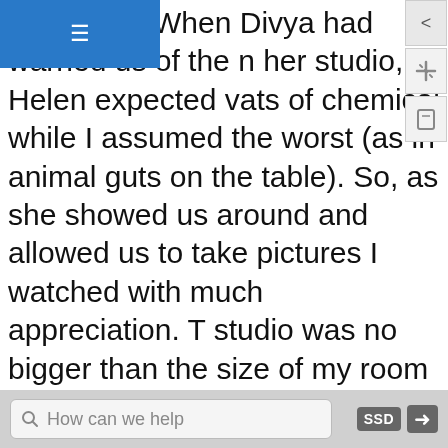[Figure (screenshot): Mobile app UI screenshot showing top navigation bar with hamburger menu in blue, right-side control buttons, main article text, and bottom search/toolbar]
ked smirk. When Divya had warned us of the n her studio, Helen expected vats of chemical while I assumed the worst (as in animal guts on the table). So, as she showed us around and allowed us to take pictures I watched with much appreciation. The studio was no bigger than the size of my room and she only had half of it to work with. There was a table with tools on it similar to the pliers I use for jewelry and there was a pig with two heads on it. As you looked from wall to wall everything was covered in taxidermied masterpieces. Unlike the classic deer mountings, these were fairytales. A fawn standing in a patch of flowers; the deer had eyelashes long and silver, similar to ones you buy at Forever 21, and the flowers continued up to the fawn's mouth and covered it delicately. "It was way in the beginning when I just